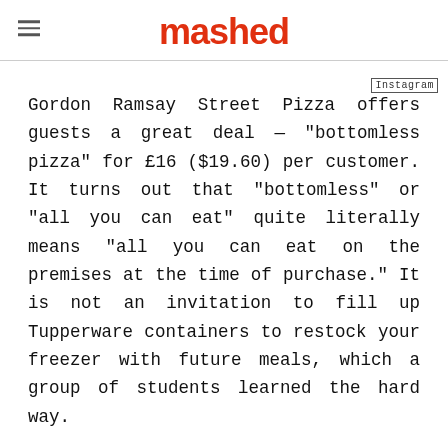mashed
Instagram
Gordon Ramsay Street Pizza offers guests a great deal — "bottomless pizza" for £16 ($19.60) per customer. It turns out that "bottomless" or "all you can eat" quite literally means "all you can eat on the premises at the time of purchase." It is not an invitation to fill up Tupperware containers to restock your freezer with future meals, which a group of students learned the hard way.